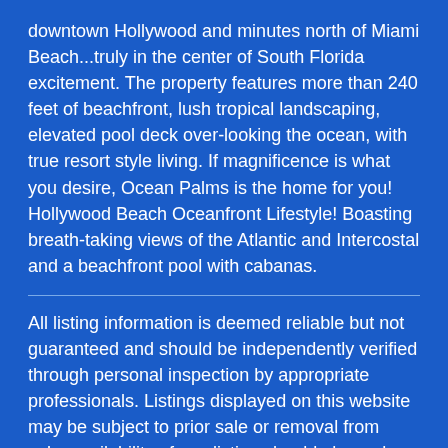downtown Hollywood and minutes north of Miami Beach...truly in the center of South Florida excitement. The property features more than 240 feet of beachfront, lush tropical landscaping, elevated pool deck over-looking the ocean, with true resort style living. If magnificence is what you desire, Ocean Palms is the home for you! Hollywood Beach Oceanfront Lifestyle! Boasting breath-taking views of the Atlantic and Intercostal and a beachfront pool with cabanas.
All listing information is deemed reliable but not guaranteed and should be independently verified through personal inspection by appropriate professionals. Listings displayed on this website may be subject to prior sale or removal from sale; availability of any listing should always be independent verified. Listing information is provided for consumer personal, non-commercial use, solely to identify potential properties for potential purchase; all other use is strictly prohibited and may violate relevant federal and state law. The source of the listing data is as follows: Miami Association of